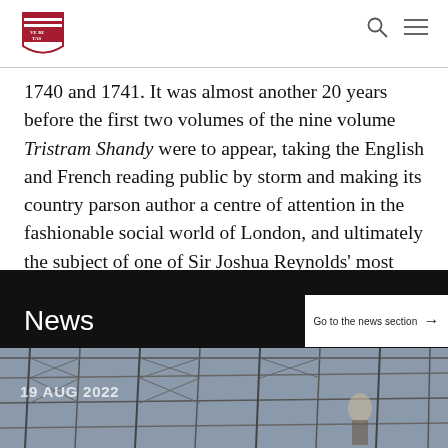Harvard University website header with shield logo, search icon, and menu icon
1740 and 1741. It was almost another 20 years before the first two volumes of the nine volume Tristram Shandy were to appear, taking the English and French reading public by storm and making its country parson author a centre of attention in the fashionable social world of London, and ultimately the subject of one of Sir Joshua Reynolds' most memorable portraits.
News
Go to the news section →
[Figure (photo): Photograph of scaffolding structure interior, dated 19 AUG 2022]